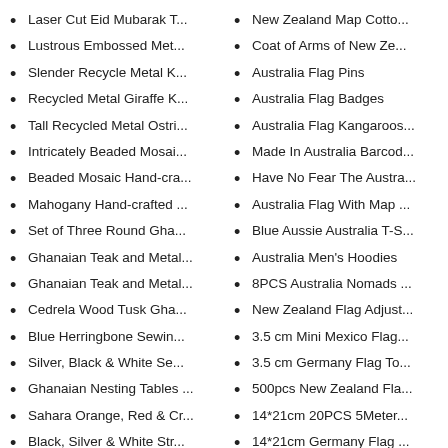Laser Cut Eid Mubarak T...
Lustrous Embossed Met...
Slender Recycle Metal K...
Recycled Metal Giraffe K...
Tall Recycled Metal Ostri...
Intricately Beaded Mosai...
Beaded Mosaic Hand-cra...
Mahogany Hand-crafted ...
Set of Three Round Gha...
Ghanaian Teak and Metal...
Ghanaian Teak and Metal...
Cedrela Wood Tusk Gha...
Blue Herringbone Sewin...
Silver, Black & White Se...
Ghanaian Nesting Tables ...
Sahara Orange, Red & Cr...
Black, Silver & White Str...
Black Hampers with Blac...
White Hampers with T...
New Zealand Map Cotto...
Coat of Arms of New Ze...
Australia Flag Pins
Australia Flag Badges
Australia Flag Kangaroos...
Made In Australia Barcod...
Have No Fear The Austra...
Australia Flag With Map ...
Blue Aussie Australia T-S...
Australia Men's Hoodies
8PCS Australia Nomads ...
New Zealand Flag Adjust...
3.5 cm Mini Mexico Flag...
3.5 cm Germany Flag To...
500pcs New Zealand Fla...
14*21cm 20PCS 5Meter...
14*21cm Germany Flag ...
14*21cm India Flag Tabl...
14*21cm New Zealand F...